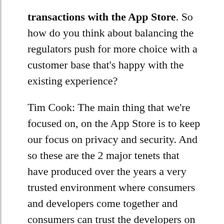transactions with the App Store. So how do you think about balancing the regulators push for more choice with a customer base that's happy with the existing experience?
Tim Cook: The main thing that we're focused on, on the App Store is to keep our focus on privacy and security. And so these are the 2 major tenets that have produced over the years a very trusted environment where consumers and developers come together and consumers can trust the developers on the developers and the apps or what they say they are and the developers get a huge audience to sell their software to. And so that's sort of #1 on our list. Everything else